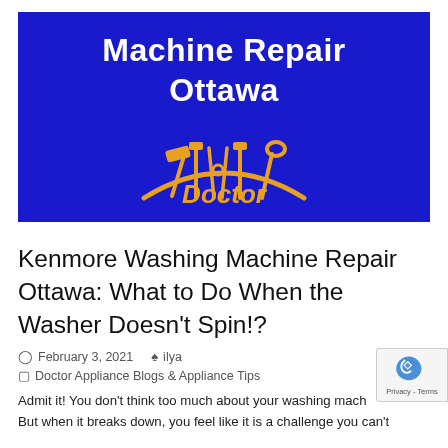[Figure (logo): Machine Repair Ottawa — Doctor Appliance logo on dark blue background with tools icon and 'Doctor' text in orange]
Kenmore Washing Machine Repair Ottawa: What to Do When the Washer Doesn't Spin!?
February 3, 2021   ilya
Doctor Appliance Blogs & Appliance Tips
Admit it! You don't think too much about your washing mach... But when it breaks down, you feel like it is a challenge you can't...